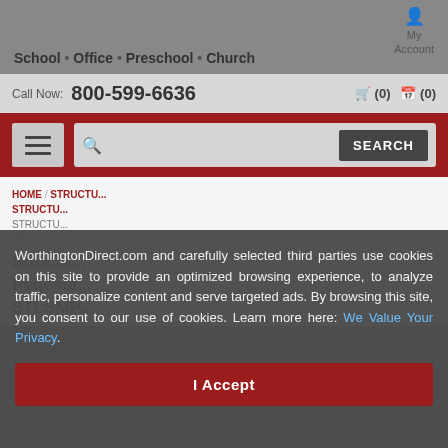My Account
School • Office • Preschool • Church
Call Now: 800-599-6636 (0) (0)
[Figure (screenshot): Search bar with hamburger menu button and SEARCH button on red background]
HOME / STRUCTU... / STRUCTU... / STRUCTU... 30" D)
Structu... Pedesta... STLSMP...
WorthingtonDirect.com and carefully selected third parties use cookies on this site to provide an optimized browsing experience, to analyze traffic, personalize content and serve targeted ads. By browsing this site, you consent to our use of cookies. Learn more here: We Value Your Privacy.
I Accept